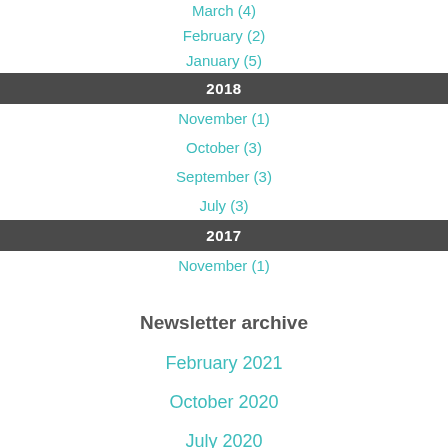March (4)
February (2)
January (5)
2018
November (1)
October (3)
September (3)
July (3)
2017
November (1)
Newsletter archive
February 2021
October 2020
July 2020
May 2020